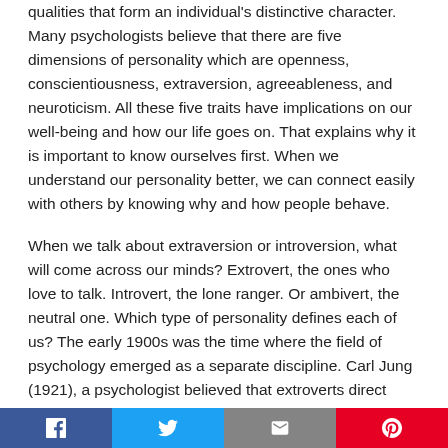qualities that form an individual's distinctive character. Many psychologists believe that there are five dimensions of personality which are openness, conscientiousness, extraversion, agreeableness, and neuroticism. All these five traits have implications on our well-being and how our life goes on. That explains why it is important to know ourselves first. When we understand our personality better, we can connect easily with others by knowing why and how people behave.
When we talk about extraversion or introversion, what will come across our minds? Extrovert, the ones who love to talk. Introvert, the lone ranger. Or ambivert, the neutral one. Which type of personality defines each of us? The early 1900s was the time where the field of psychology emerged as a separate discipline. Carl Jung (1921), a psychologist believed that extroverts direct their energy outward towards others and gain energy from them meanwhile for introverts focus their energy inwards.
Social share buttons: Facebook, Twitter, Email, Pinterest